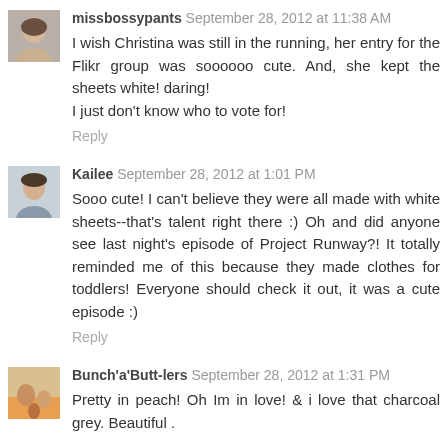[Figure (photo): Avatar photo of missbossypants - woman's face]
missbossypants September 28, 2012 at 11:38 AM
I wish Christina was still in the running, her entry for the Flikr group was soooooo cute. And, she kept the sheets white! daring!
I just don't know who to vote for!
Reply
[Figure (photo): Avatar photo of Kailee - woman's face]
Kailee September 28, 2012 at 1:01 PM
Sooo cute! I can't believe they were all made with white sheets--that's talent right there :) Oh and did anyone see last night's episode of Project Runway?! It totally reminded me of this because they made clothes for toddlers! Everyone should check it out, it was a cute episode :)
Reply
[Figure (photo): Avatar photo of Bunch'a'Butt-lers - family photo]
Bunch'a'Butt-lers September 28, 2012 at 1:31 PM
Pretty in peach! Oh Im in love! & i love that charcoal grey. Beautiful .